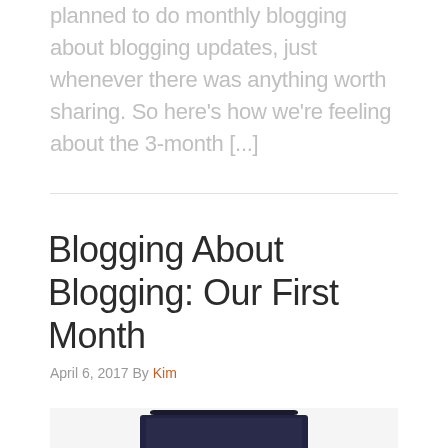planned to do monthly blogging about blogging updates, just whenever there was anything worth sharing. So here’s how we’re feeling about the 3-month [...]
Blogging About Blogging: Our First Month
April 6, 2017 By Kim
[Figure (photo): Photo of a laptop/tablet on a desk, partially visible at the bottom of the page]